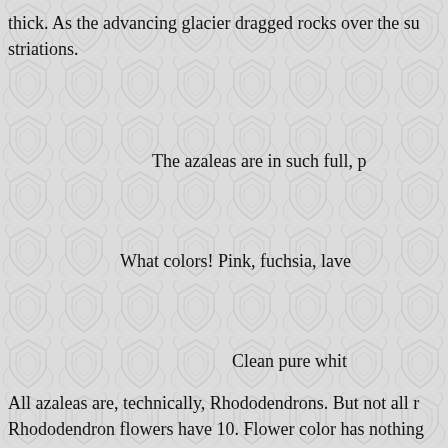thick. As the advancing glacier dragged rocks over the su striations.
The azaleas are in such full, p
What colors! Pink, fuchsia, lave
Clean pure whit
All azaleas are, technically, Rhododendrons. But not all r Rhododendron flowers have 10. Flower color has nothing